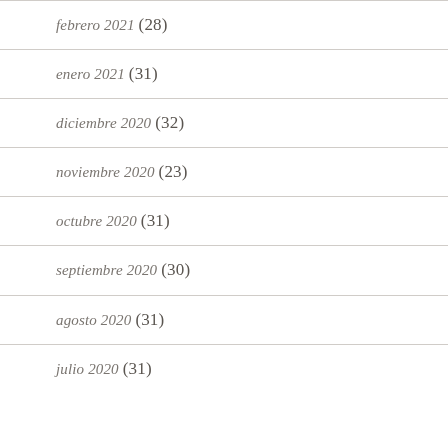febrero 2021 (28)
enero 2021 (31)
diciembre 2020 (32)
noviembre 2020 (23)
octubre 2020 (31)
septiembre 2020 (30)
agosto 2020 (31)
julio 2020 (31)